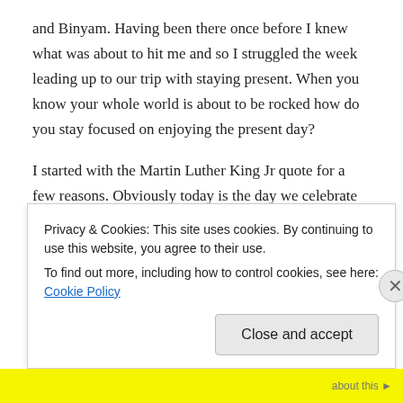and Binyam. Having been there once before I knew what was about to hit me and so I struggled the week leading up to our trip with staying present. When you know your whole world is about to be rocked how do you stay focused on enjoying the present day?
I started with the Martin Luther King Jr quote for a few reasons. Obviously today is the day we celebrate his life and legacy but also because that quote kind of stood out today.
So many times in the last few weeks I've felt the urge to back out of the trip. I kept thinking that a sane person wouldn't be going to Haiti. Of
Privacy & Cookies: This site uses cookies. By continuing to use this website, you agree to their use.
To find out more, including how to control cookies, see here: Cookie Policy
Close and accept